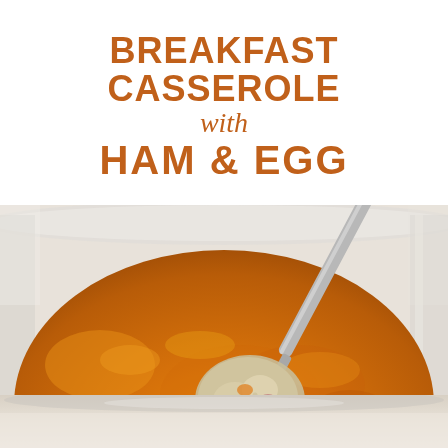BREAKFAST CASSEROLE with HAM & EGG
[Figure (photo): Close-up photo of a breakfast casserole in a glass baking dish with a golden-orange cheesy top crust, with a fork lifting a bite showing ham, egg, and potato filling.]
[Figure (photo): Bottom portion of a casserole dish, light beige/cream colored surface, partial view.]